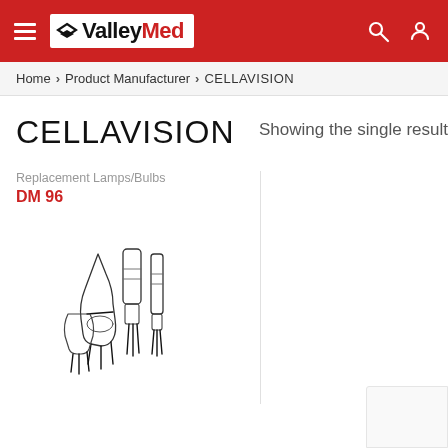ValleyMed
Home > Product Manufacturer > CELLAVISION
CELLAVISION
Showing the single result
Replacement Lamps/Bulbs
DM 96
[Figure (illustration): Line drawing illustration of replacement lamp/bulb components showing several tubular lamp parts arranged together]